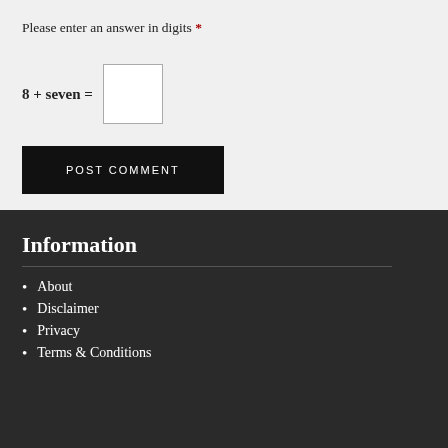Please enter an answer in digits *
8 + seven =
POST COMMENT
Information
About
Disclaimer
Privacy
Terms & Conditions